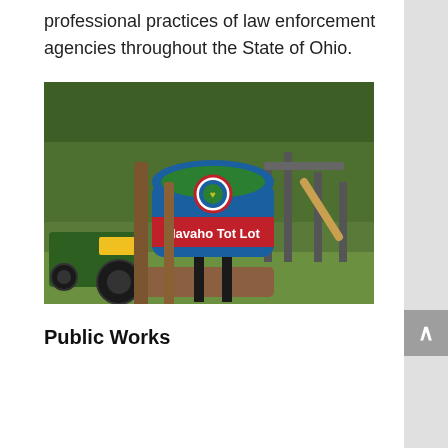professional practices of law enforcement agencies throughout the State of Ohio.
[Figure (photo): Photograph of a park sign reading 'Navaho Tot Lot' mounted on two black posts on a grassy area, with playground equipment and trees visible in the background. A green tractor is parked to the left. The sign has a blue arch top with a circular emblem, and a red banner with white text.]
Public Works